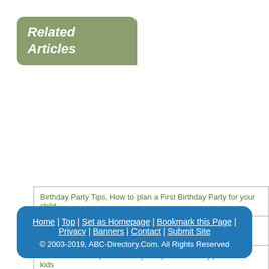Related Articles
Birthday Party Tips, How to plan a First Birthday Party for your child
San Francisco Bay Area's Premier children's Party Entertainment
Choose the best place for day camp and birthday parties for kids
Hire Professional Kitchen Rental Services to Enjoy Birthday Party
Bay Area Kids Birthday Party Tips / clown,puppet,magic...
Money, Finance, and Capitalist Development
Celebrate Life's Events
Benefits of Hiring Catering Service for a Birthday Party
The Significance of Kids Magician in Birthday Parties
Indiafloristnetwork.com
Home | Top | Set as Homepage | Bookmark this Page | Privacy | Banners | Contact | Submit Site
© 2003-2019, ABC-Directory.Com. All Rights Reserved